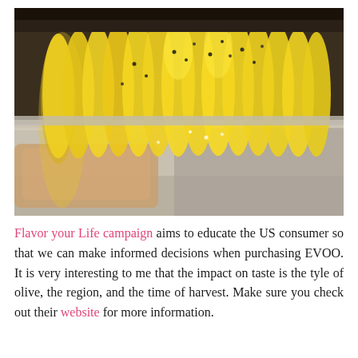[Figure (photo): Close-up photo of sliced yellow squash seasoned with black pepper on a foil-lined baking sheet, with what appears to be fish or chicken underneath.]
Flavor your Life campaign aims to educate the US consumer so that we can make informed decisions when purchasing EVOO. It is very interesting to me that the impact on taste is the tyle of olive, the region, and the time of harvest. Make sure you check out their website for more information.